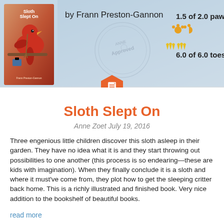[Figure (illustration): Book review banner showing the cover of 'Sloth Slept On' by Frann Preston-Gannon with a red bird/sloth illustration, an Anne Approved stamp, rating of 1.5 of 2.0 paws and 6.0 of 6.0 toes with paw and toe icons, and a red hexagon document icon below the banner.]
Sloth Slept On
Anne Zoet July 19, 2016
Three engenious little children discover this sloth asleep in their garden. They have no idea what it is and they start throwing out possibilities to one another (this process is so endearing—these are kids with imagination). When they finally conclude it is a sloth and where it must've come from, they plot how to get the sleeping critter back home. This is a richly illustrated and finished book. Very nice addition to the bookshelf of beautiful books.
read more